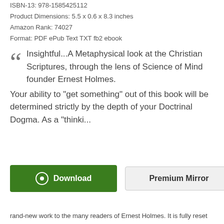ISBN-13: 978-1585425112
Product Dimensions: 5.5 x 0.6 x 8.3 inches
Amazon Rank: 74027
Format: PDF ePub Text TXT fb2 ebook
Insightful...A Metaphysical look at the Christian Scriptures, through the lens of Science of Mind founder Ernest Holmes. Your ability to "get something" out of this book will be determined strictly by the depth of your Doctrinal Dogma. As a "thinki...
rand-new work to the many readers of Ernest Holmes. It is fully reset